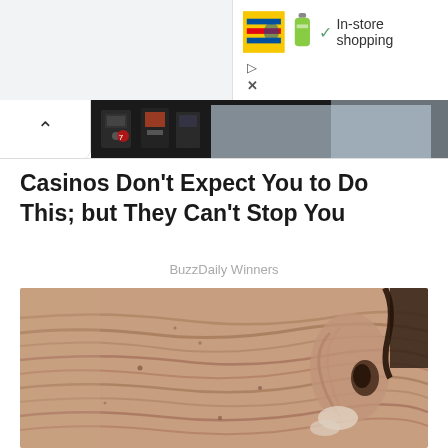[Figure (screenshot): Browser UI screenshot showing a grey top bar, a white panel with Lidl logo ad and 'In-store shopping' text with checkmark, navigation chevron button, and a dark image strip showing a casino/store interior.]
Casinos Don't Expect You to Do This; but They Can't Stop You
BuzzDaily Winners
[Figure (photo): Close-up macro photograph of elderly person's face showing deeply wrinkled skin near the ear area.]